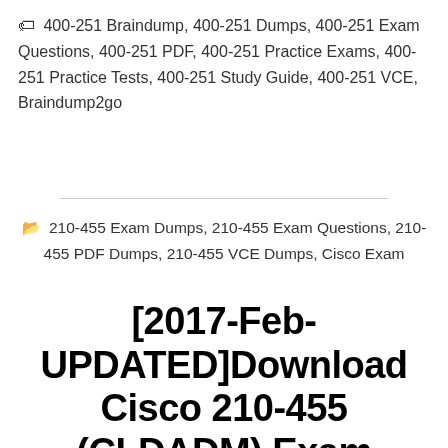🏷 400-251 Braindump, 400-251 Dumps, 400-251 Exam Questions, 400-251 PDF, 400-251 Practice Exams, 400-251 Practice Tests, 400-251 Study Guide, 400-251 VCE, Braindump2go
📂 210-455 Exam Dumps, 210-455 Exam Questions, 210-455 PDF Dumps, 210-455 VCE Dumps, Cisco Exam
[2017-Feb-UPDATED]Download Cisco 210-455 (CLDADM) Exam Dumps